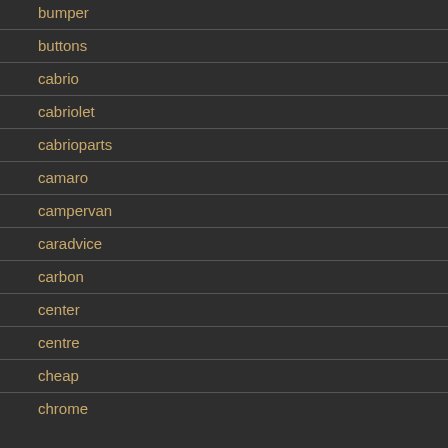bumper
buttons
cabrio
cabriolet
cabrioparts
camaro
campervan
caradvice
carbon
center
centre
cheap
chrome